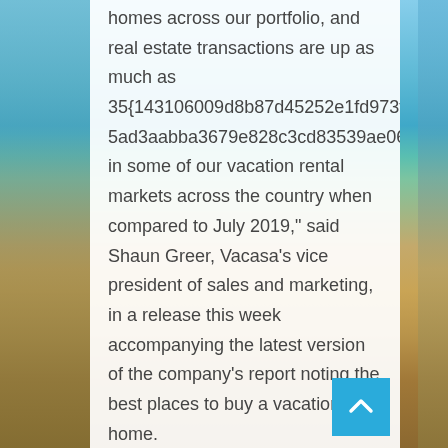homes across our portfolio, and real estate transactions are up as much as 35{143106009d8b87d45252e1fd973f0c0835ad3aabba3679e828c3cd83539ae06c} in some of our vacation rental markets across the country when compared to July 2019," said Shaun Greer, Vacasa's vice president of sales and marketing, in a release this week accompanying the latest version of the company's report noting the best places to buy a vacation home.
“Many buyers believe we will be impacted by COVID-19 for the next 12 to 18 months, and are seeking a place close to home where they can get away with their families, work remotely if needed, and generate income when